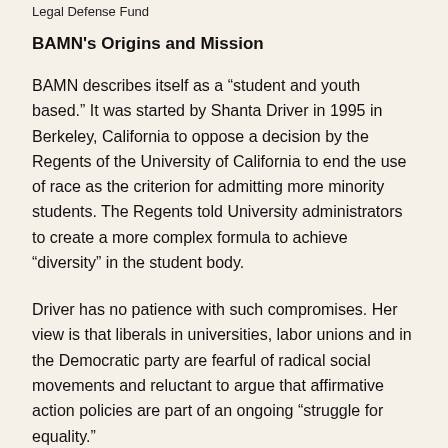Legal Defense Fund
BAMN's Origins and Mission
BAMN describes itself as a “student and youth based.” It was started by Shanta Driver in 1995 in Berkeley, California to oppose a decision by the Regents of the University of California to end the use of race as the criterion for admitting more minority students. The Regents told University administrators to create a more complex formula to achieve “diversity” in the student body.
Driver has no patience with such compromises. Her view is that liberals in universities, labor unions and in the Democratic party are fearful of radical social movements and reluctant to argue that affirmative action policies are part of an ongoing “struggle for equality.”